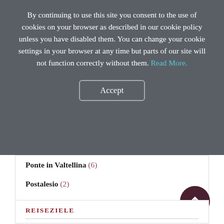By continuing to use this site you consent to the use of cookies on your browser as described in our cookie policy unless you have disabled them. You can change your cookie settings in your browser at any time but parts of our site will not function correctly without them. Read More.
Accept
Ponte in Valtellina (6)
Postalesio (2)
Tresivio (3)
REISEZIELE